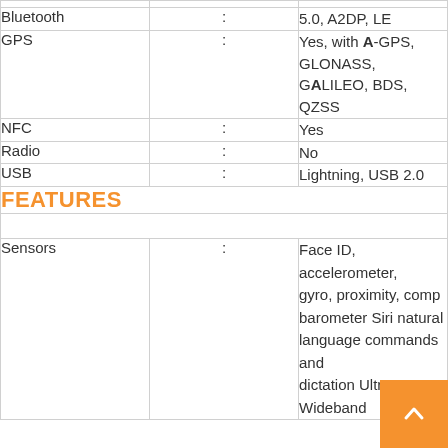| Feature | : | Value |
| --- | --- | --- |
| Bluetooth | : | 5.0, A2DP, LE |
| GPS | : | Yes, with A-GPS, GLONASS, GALILEO, BDS, QZSS |
| NFC | : | Yes |
| Radio | : | No |
| USB | : | Lightning, USB 2.0 |
FEATURES
| Feature | : | Value |
| --- | --- | --- |
| Sensors | : | Face ID, accelerometer, gyro, proximity, compass, barometer Siri natural language commands and dictation Ultra Wideband |